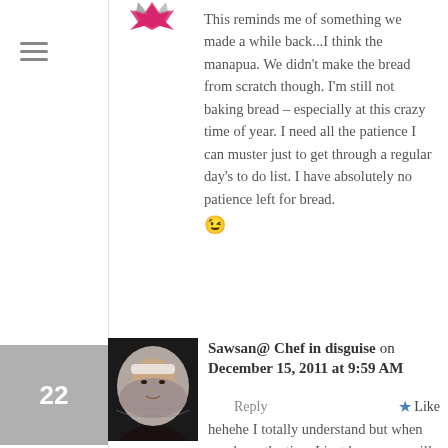[Figure (illustration): Pink and grey decorative star/crown graphic serving as user avatar]
This reminds me of something we made a while back...I think the manapua. We didn't make the bread from scratch though. I'm still not baking bread – especially at this crazy time of year. I need all the patience I can muster just to get through a regular day's to do list. I have absolutely no patience left for bread. 😉
[Figure (photo): Profile photo of Sawsan, a woman wearing a hijab]
Sawsan@ Chef in disguise on December 15, 2011 at 9:59 AM
Reply
Like
hehehe I totally understand but when you have the time I just know you will make amazing breads